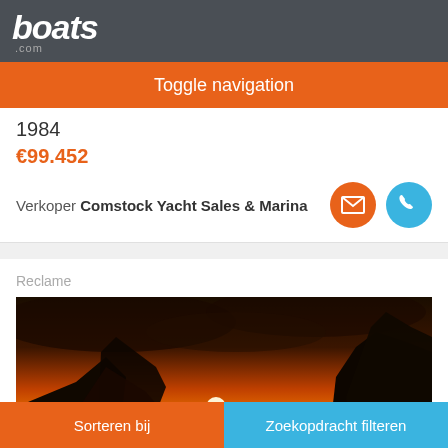boats.com
Toggle navigation
1984
€99.452
Verkoper Comstock Yacht Sales & Marina
Reclame
[Figure (photo): Sunset over ocean with silhouetted cliffs and mountains, text 'OAHU' overlaid in center]
Sorteren bij | Zoekopdracht filteren